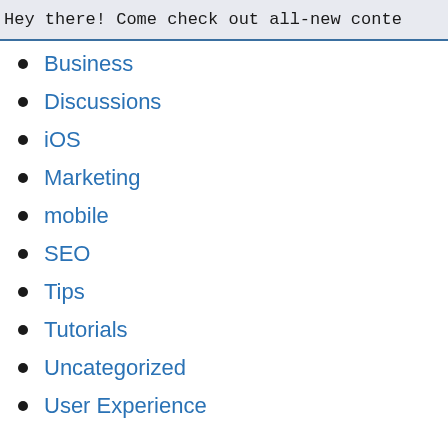Hey there! Come check out all-new conte
Business
Discussions
iOS
Marketing
mobile
SEO
Tips
Tutorials
Uncategorized
User Experience